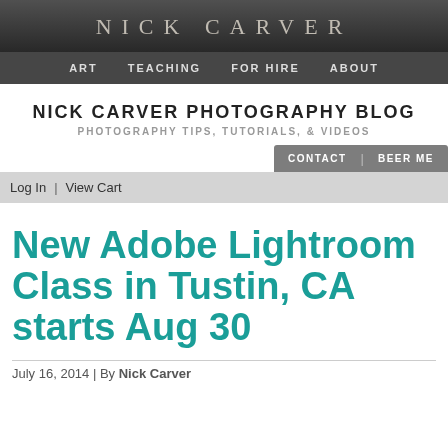NICK CARVER
ART   TEACHING   FOR HIRE   ABOUT
NICK CARVER PHOTOGRAPHY BLOG
PHOTOGRAPHY TIPS, TUTORIALS, & VIDEOS
CONTACT | BEER ME
Log In | View Cart
New Adobe Lightroom Class in Tustin, CA starts Aug 30
July 16, 2014 | By Nick Carver